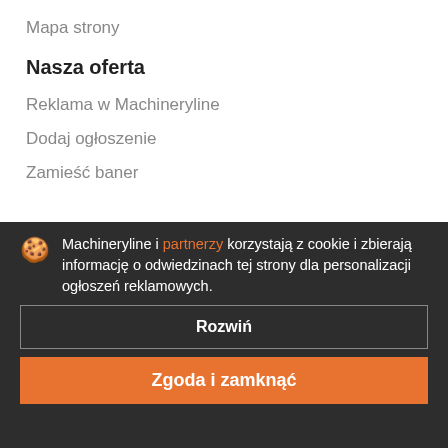Mapa strony
Nasza oferta
Reklama w Machineryline
Dodaj ogłoszenie
Zamieść baner
Program partnerski
Machineryline i partnerzy korzystają z cookie i zbierają informację o odwiedzinach tej strony dla personalizacji ogłoszeń reklamowych.
Rozwiń
Zgoda i zamknąć